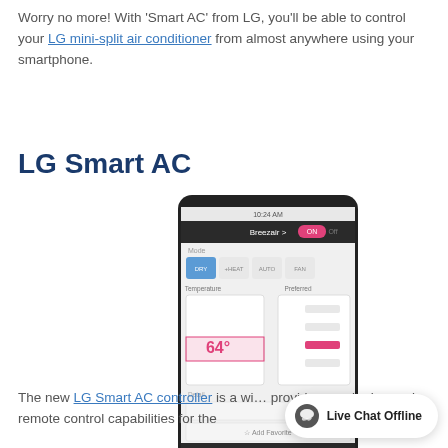Worry no more! With 'Smart AC' from LG, you'll be able to control your LG mini-split air conditioner from almost anywhere using your smartphone.
LG Smart AC
[Figure (screenshot): Screenshot of LG Smart AC smartphone app showing temperature control interface with 64 degrees displayed and various mode buttons]
The new LG Smart AC controller is a wi... provides monitoring and remote control capabilities for the